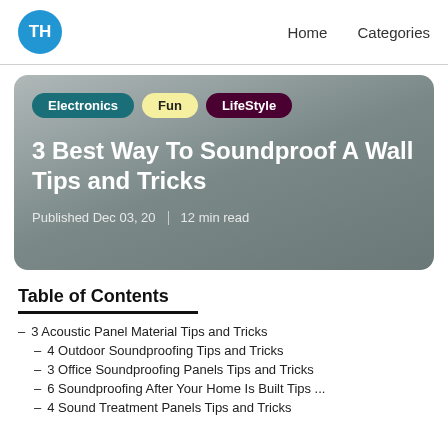TH | Home  Categories
[Figure (other): Blog article hero card with category tags (Electronics, Fun, LifeStyle), article title '3 Best Way To Soundproof A Wall Tips and Tricks', and metadata 'Published Dec 03, 20 | 12 min read' on a grey gradient background.]
Table of Contents
- 3 Acoustic Panel Material Tips and Tricks
- 4 Outdoor Soundproofing Tips and Tricks
- 3 Office Soundproofing Panels Tips and Tricks
- 6 Soundproofing After Your Home Is Built Tips ...
- 4 Sound Treatment Panels Tips and Tricks